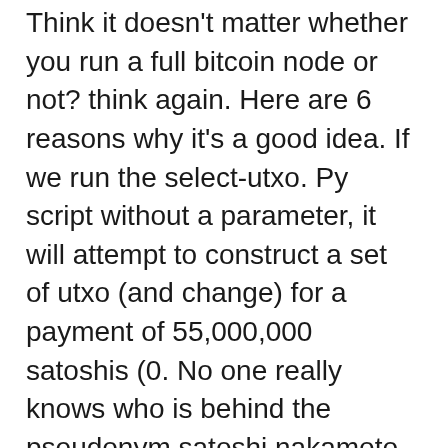Think it doesn't matter whether you run a full bitcoin node or not? think again. Here are 6 reasons why it's a good idea. If we run the select-utxo. Py script without a parameter, it will attempt to construct a set of utxo (and change) for a payment of 55,000,000 satoshis (0. No one really knows who is behind the pseudonym satoshi nakamoto that has been credited as developing the world's first and largest. Bitcoin is an open source censorship-resistant peer-to-peer immutable network. This is what fiat education leads to. A statue of bitcoin's unknown creator was recently unveiled in hungary. Indeed author — and owns the copyright in — the white paper and. If you're looking for an exchange that operates solely within the cryptocurrency world, look for pure-play crypto exchanges. These platforms, such as. Contribute to bitcoin/bitcoin development by creating an account on github. Unit tests can be